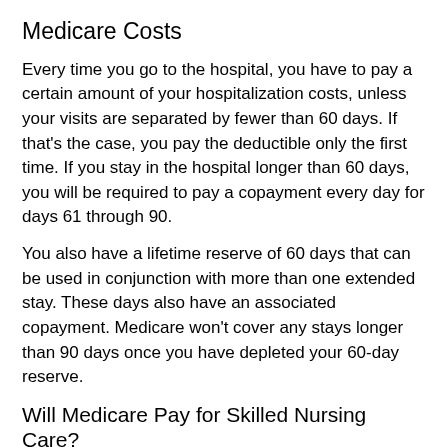Medicare Costs
Every time you go to the hospital, you have to pay a certain amount of your hospitalization costs, unless your visits are separated by fewer than 60 days. If that's the case, you pay the deductible only the first time. If you stay in the hospital longer than 60 days, you will be required to pay a copayment every day for days 61 through 90.
You also have a lifetime reserve of 60 days that can be used in conjunction with more than one extended stay. These days also have an associated copayment. Medicare won't cover any stays longer than 90 days once you have depleted your 60-day reserve.
Will Medicare Pay for Skilled Nursing Care?
Medicare will pay for the first 20 days of skilled nursing care, but only after you've been in the hospital for three days. This means you'll have paid at least the deductible for that three-day stay. From the 21st day through the 100th day, Medicare will cover some of the costs of skilled